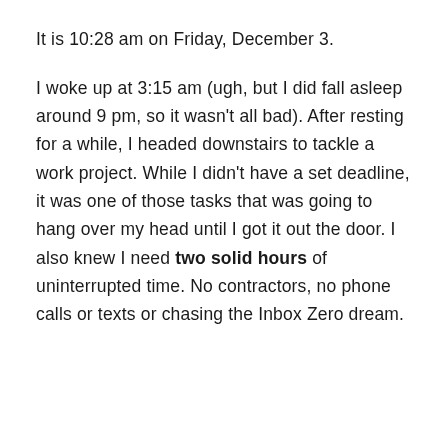It is 10:28 am on Friday, December 3.
I woke up at 3:15 am (ugh, but I did fall asleep around 9 pm, so it wasn't all bad). After resting for a while, I headed downstairs to tackle a work project. While I didn't have a set deadline, it was one of those tasks that was going to hang over my head until I got it out the door. I also knew I need two solid hours of uninterrupted time. No contractors, no phone calls or texts or chasing the Inbox Zero dream.